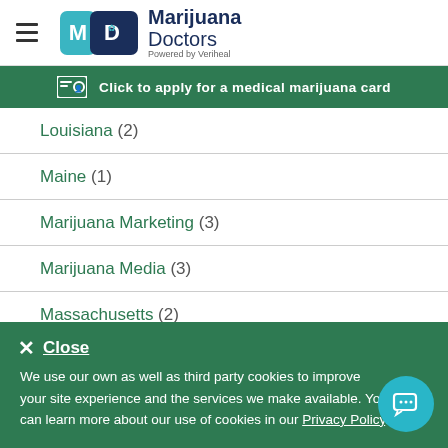Marijuana Doctors — Powered by Veriheal
Click to apply for a medical marijuana card
Louisiana (2)
Maine (1)
Marijuana Marketing (3)
Marijuana Media (3)
Massachusetts (2)
Close
We use our own as well as third party cookies to improve your site experience and the services we make available. You can learn more about our use of cookies in our Privacy Policy.